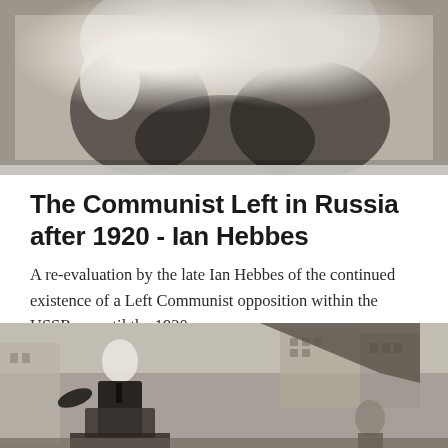[Figure (photo): Black and white historical photograph showing close-up of figures, cropped at top of page]
The Communist Left in Russia after 1920 - Ian Hebbes
A re-evaluation by the late Ian Hebbes of the continued existence of a Left Communist opposition within the USSR up until the 1930s.
[Figure (photo): Black and white historical photograph of a man (Lenin) speaking at a podium outdoors, with buildings visible in the background]